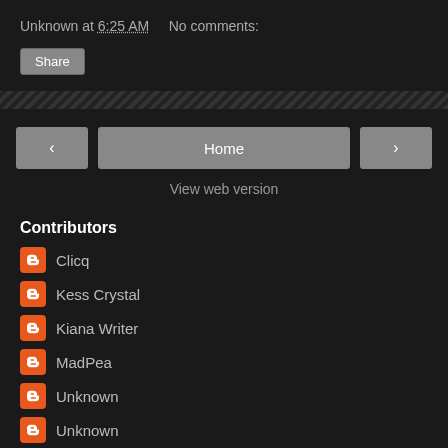Unknown at 6:25 AM    No comments:
Share
‹    Home    ›
View web version
Contributors
Clicq
Kess Crystal
Kiana Writer
MadPea
Unknown
Unknown
Powered by Blogger.